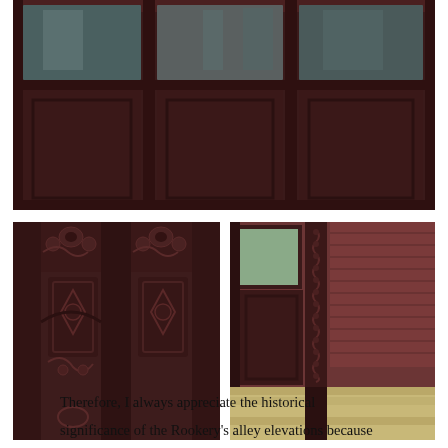[Figure (photo): Close-up photograph of ornate dark reddish-brown iron facade panels with decorative metalwork at the base of windows, showing large glass panes divided by mullions]
[Figure (photo): Close-up photograph of dark brownish-red ornate cast iron decorative column detail with intricate floral and geometric relief patterns]
[Figure (photo): Close-up photograph of dark brownish-red ornate cast iron door or window frame with decorative carved scrollwork band next to brick wall and stone step]
Therefore, I always appreciate the historical significance of the Rookery's alley elevations because they contain not only this early example of the iron-and-glass curtain wall, but also